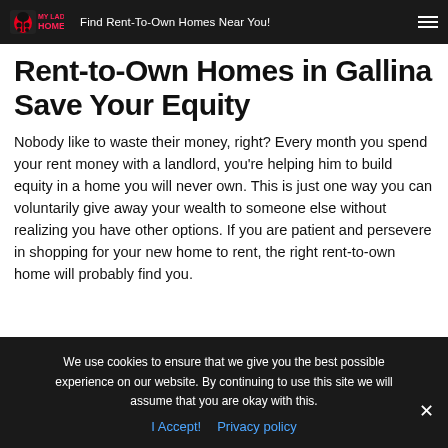My Ladybug Homes — Find Rent-To-Own Homes Near You!
Rent-to-Own Homes in Gallina Save Your Equity
Nobody like to waste their money, right? Every month you spend your rent money with a landlord, you're helping him to build equity in a home you will never own. This is just one way you can voluntarily give away your wealth to someone else without realizing you have other options. If you are patient and persevere in shopping for your new home to rent, the right rent-to-own home will probably find you.
We use cookies to ensure that we give you the best possible experience on our website. By continuing to use this site we will assume that you are okay with this.
I Accept!  Privacy policy